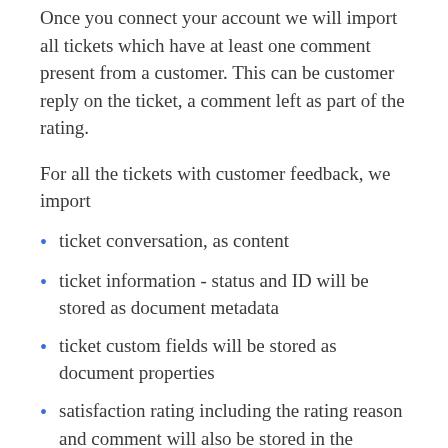Once you connect your account we will import all tickets which have at least one comment present from a customer. This can be customer reply on the ticket, a comment left as part of the rating.
For all the tickets with customer feedback, we import
ticket conversation, as content
ticket information - status and ID will be stored as document metadata
ticket custom fields will be stored as document properties
satisfaction rating including the rating reason and comment will also be stored in the properties